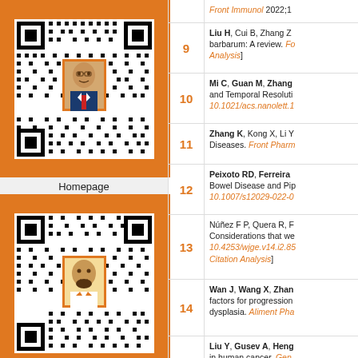[Figure (other): QR code with person photo overlay on orange background, labeled Homepage]
Homepage
[Figure (other): QR code with person photo overlay on orange background, labeled Online Submission]
Online Submission
| # | Reference |
| --- | --- |
| 9 | Liu H, Cui B, Zhang Z barbarum: A review. [Food Analysis] |
| 10 | Mi C, Guan M, Zhang and Temporal Resolution 10.1021/acs.nanolett.1 |
| 11 | Zhang K, Kong X, Li Y Diseases. Front Pharm |
| 12 | Peixoto RD, Ferreira Bowel Disease and Pip 10.1007/s12029-022-0 |
| 13 | Núñez F P, Quera R, Considerations that we 10.4253/wjge.v14.i2.85 Citation Analysis] |
| 14 | Wan J, Wang X, Zhang factors for progression dysplasia. Aliment Pha |
| 15 | Liu Y, Gusev A, Heng in human cancer. Gene Citation Analysis] |